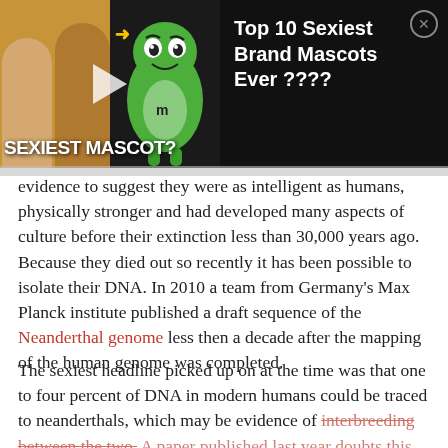[Figure (screenshot): Advertisement banner showing a thumbnail with two people and a green M&M mascot with text 'SEXIEST MASCOT?' and ad title 'Top 10 Sexiest Brand Mascots Ever ????' on dark background with close button.]
evidence to suggest they were as intelligent as humans, physically stronger and had developed many aspects of culture before their extinction less than 30,000 years ago. Because they died out so recently it has been possible to isolate their DNA. In 2010 a team from Germany's Max Planck institute published a draft sequence of the Neanderthal genome less then a decade after the mapping of the human genome was completed.
The sexiest headline picked up on at the time was that one to four percent of DNA in modern humans could be traced to neanderthals, which may be evidence of interbreeding between the two. A paper published last year doubts this conclusion, suggesting a common